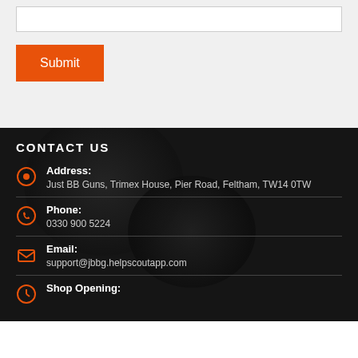[Figure (screenshot): White input field (text box) at the top of a form on a light grey background]
[Figure (screenshot): Orange 'Submit' button below the input field]
CONTACT US
Address: Just BB Guns, Trimex House, Pier Road, Feltham, TW14 0TW
Phone: 0330 900 5224
Email: support@jbbg.helpscoutapp.com
Shop Opening: